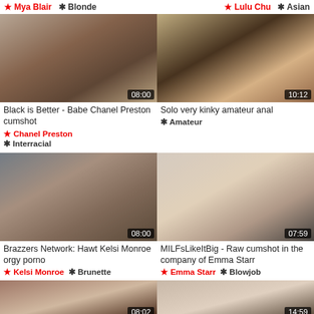★ Mya Blair  ✱ Blonde    ★ Lulu Chu  ✱ Asian
[Figure (photo): Video thumbnail: Black is Better - Babe Chanel Preston cumshot, duration 08:00]
Black is Better - Babe Chanel Preston cumshot
★ Chanel Preston  ✱ Interracial
[Figure (photo): Video thumbnail: Solo very kinky amateur anal, duration 10:12]
Solo very kinky amateur anal
✱ Amateur
[Figure (photo): Video thumbnail: Brazzers Network: Hawt Kelsi Monroe orgy porno, duration 08:00]
Brazzers Network: Hawt Kelsi Monroe orgy porno
★ Kelsi Monroe  ✱ Brunette
[Figure (photo): Video thumbnail: MILFsLikeItBig - Raw cumshot in the company of Emma Starr, duration 07:59]
MILFsLikeItBig - Raw cumshot in the company of Emma Starr
★ Emma Starr  ✱ Blowjob
[Figure (photo): Video thumbnail partial, duration 08:02]
[Figure (photo): Video thumbnail partial, duration 14:59]